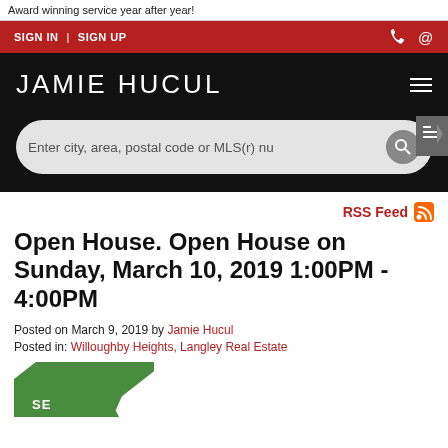Award winning service year after year!
SIGN IN | SIGN UP
JAMIE HUCUL
Enter city, area, postal code or MLS(r) num
RSS Feed
Open House. Open House on Sunday, March 10, 2019 1:00PM - 4:00PM
Posted on March 9, 2019 by Jamie Hucul
Posted in: Willoughby Heights, Langley Real Estate
[Figure (other): Green diagonal banner/badge at bottom left corner]